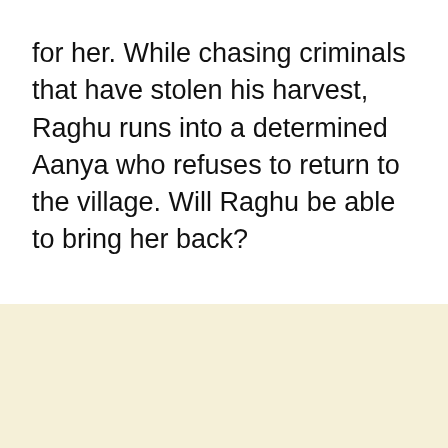for her. While chasing criminals that have stolen his harvest, Raghu runs into a determined Aanya who refuses to return to the village. Will Raghu be able to bring her back?
[Figure (other): Beige/cream colored advertisement placeholder area]
[Figure (screenshot): Web push notification card from GlamTush showing headline 'I Didn't Know How I Defiled 14-Year-Old Chorister –' posted 9 hours ago, with a close (X) button and a blue bell icon with badge count 3]